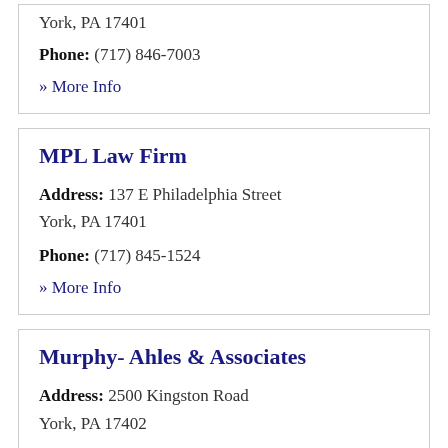York, PA 17401
Phone: (717) 846-7003
» More Info
MPL Law Firm
Address: 137 E Philadelphia Street
York, PA 17401
Phone: (717) 845-1524
» More Info
Murphy- Ahles & Associates
Address: 2500 Kingston Road
York, PA 17402
Phone: (717) 771-5217